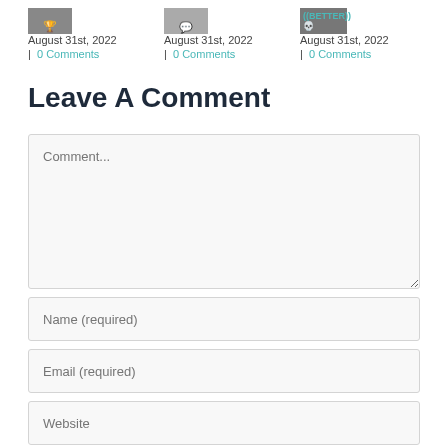August 31st, 2022 | 0 Comments
August 31st, 2022 | 0 Comments
August 31st, 2022 | 0 Comments
Leave A Comment
Comment...
Name (required)
Email (required)
Website